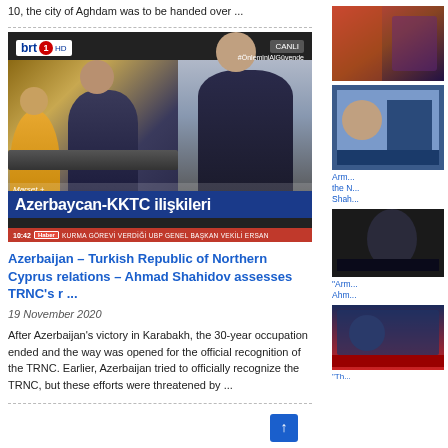10, the city of Aghdam was to be handed over ...
[Figure (screenshot): TV broadcast screenshot from BRT1 HD showing news studio with hosts and a video-call guest, with chyron 'Azerbaycan-KKTC ilişkileri' in blue bar and red ticker '10:42 Haber KURMA GÖREVİ VERDİĞİ UBP GENEL BAŞKAN VEKİLİ ERSAN']
Azerbaijan – Turkish Republic of Northern Cyprus relations – Ahmad Shahidov assesses TRNC's r ...
19 November 2020
After Azerbaijan's victory in Karabakh, the 30-year occupation ended and the way was opened for the official recognition of the TRNC. Earlier, Azerbaijan tried to officially recognize the TRNC, but these efforts were threatened by ...
[Figure (screenshot): Sidebar thumbnail: colorful news graphic top right]
[Figure (screenshot): Sidebar thumbnail: Arm... the N... Shah... article image]
[Figure (screenshot): Sidebar thumbnail: dark studio image with "Arm... Ahm..." caption]
[Figure (screenshot): Sidebar thumbnail: dark blue/red news graphic bottom right]